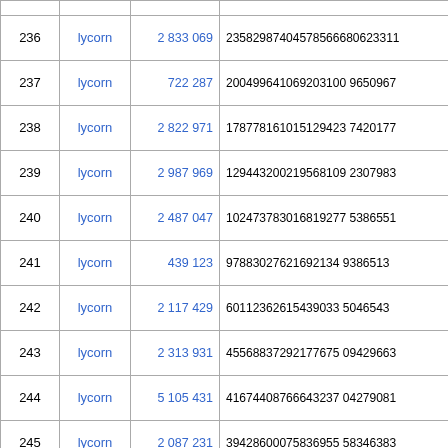|  | lycorn |  |  |
| --- | --- | --- | --- |
| 236 | lycorn | 2 833 069 | 23582987404578566 80623311 |
| 237 | lycorn | 722 287 | 200499641069203100 9650967 |
| 238 | lycorn | 2 822 971 | 178778161015129423 7420177 |
| 239 | lycorn | 2 987 969 | 129443200219568109 2307983 |
| 240 | lycorn | 2 487 047 | 102473783016819277 5386551 |
| 241 | lycorn | 439 123 | 9788302762169213493 86513 |
| 242 | lycorn | 2 117 429 | 6011236261543903350 46543 |
| 243 | lycorn | 2 313 931 | 4556883729217675094 29663 |
| 244 | lycorn | 5 105 431 | 4167440876643237042 79081 |
| 245 | lycorn | 2 087 231 | 3942860007583695583 46383 |
| 246 | lycorn | 921 001 | 3795116081730184019 93567 |